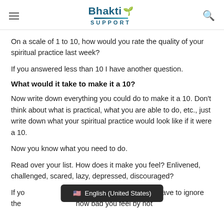Bhakti Support
On a scale of 1 to 10, how would you rate the quality of your spiritual practice last week?
If you answered less than 10 I have another question.
What would it take to make it a 10?
Now write down everything you could do to make it a 10. Don’t think about what is practical, what you are able to do, etc., just write down what your spiritual practice would look like if it were a 10.
Now you know what you need to do.
Read over your list. How does it make you feel? Enlivened, challenged, scared, lazy, depressed, discouraged?
If yo... k. You don’t have to ignore the... how bad you feel by not...